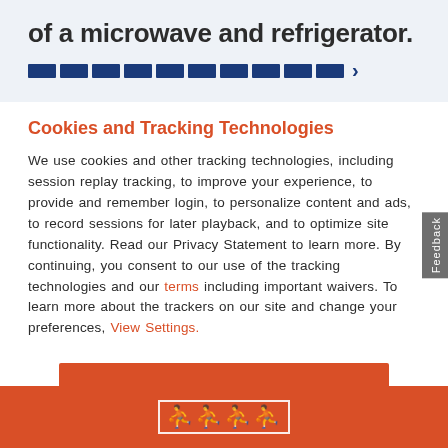of a microwave and refrigerator.
[Figure (infographic): A horizontal progress bar made of dark navy blue rectangular segments with a right-pointing arrow at the end, indicating a multi-step process.]
Cookies and Tracking Technologies
We use cookies and other tracking technologies, including session replay tracking, to improve your experience, to provide and remember login, to personalize content and ads, to record sessions for later playback, and to optimize site functionality. Read our Privacy Statement to learn more. By continuing, you consent to our use of these tracking technologies and our terms including important waivers. To learn more about the trackers on our site and change your preferences, View Settings.
[Figure (other): Orange ACCEPT button]
[logo icons]